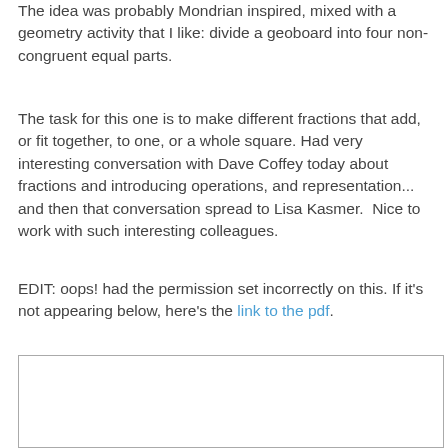The idea was probably Mondrian inspired, mixed with a geometry activity that I like: divide a geoboard into four non-congruent equal parts.
The task for this one is to make different fractions that add, or fit together, to one, or a whole square. Had very interesting conversation with Dave Coffey today about fractions and introducing operations, and representation... and then that conversation spread to Lisa Kasmer.  Nice to work with such interesting colleagues.
EDIT: oops! had the permission set incorrectly on this. If it's not appearing below, here's the link to the pdf.
[Figure (other): Empty white box with a grey border, representing an embedded PDF or media area that is not displaying content.]